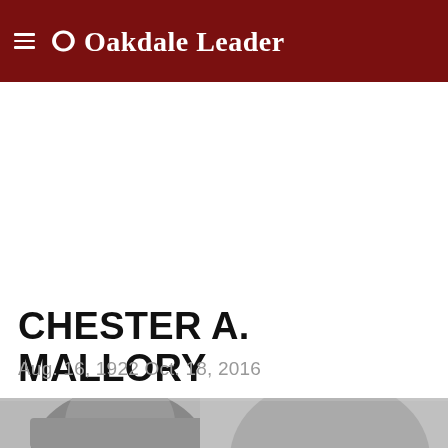Oakdale Leader
CHESTER A. MALLORY
Aug. 16, 1922 Oct. 18, 2016
[Figure (photo): Grayscale portrait photograph of Chester A. Mallory, partially visible at bottom of page]